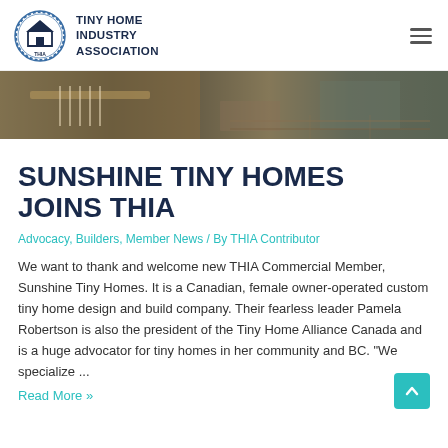TINY HOME INDUSTRY ASSOCIATION
[Figure (photo): Hero banner image showing tiny home interior details — kitchen counter, wood flooring, and interior design elements]
SUNSHINE TINY HOMES JOINS THIA
Advocacy, Builders, Member News / By THIA Contributor
We want to thank and welcome new THIA Commercial Member, Sunshine Tiny Homes. It is a Canadian, female owner-operated custom tiny home design and build company. Their fearless leader Pamela Robertson is also the president of the Tiny Home Alliance Canada and is a huge advocator for tiny homes in her community and BC. "We specialize ...
Read More »